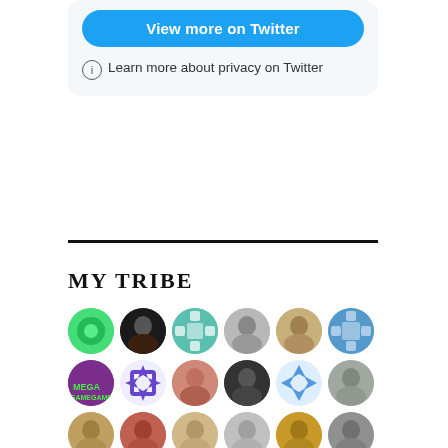[Figure (screenshot): Twitter widget showing 'View more on Twitter' button and privacy notice]
MY TRIBE
[Figure (illustration): Grid of circular avatar icons showing various user profile pictures arranged in rows]